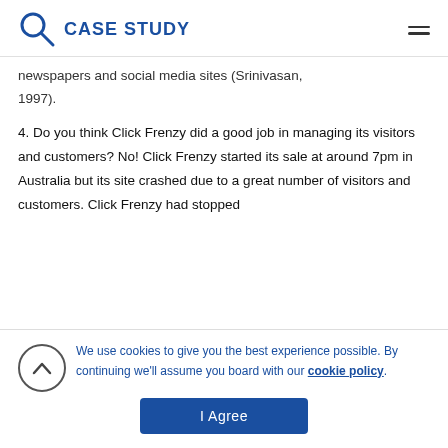CASE STUDY
newspapers and social media sites (Srinivasan, 1997).
4. Do you think Click Frenzy did a good job in managing its visitors and customers? No! Click Frenzy started its sale at around 7pm in Australia but its site crashed due to a great number of visitors and customers. Click Frenzy had stopped
We use cookies to give you the best experience possible. By continuing we'll assume you board with our cookie policy.
I Agree